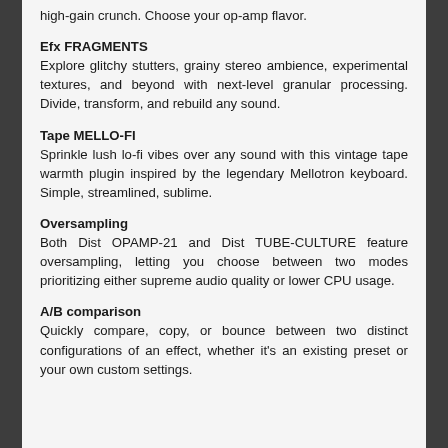high-gain crunch. Choose your op-amp flavor.
Efx FRAGMENTS
Explore glitchy stutters, grainy stereo ambience, experimental textures, and beyond with next-level granular processing. Divide, transform, and rebuild any sound.
Tape MELLO-FI
Sprinkle lush lo-fi vibes over any sound with this vintage tape warmth plugin inspired by the legendary Mellotron keyboard. Simple, streamlined, sublime.
Oversampling
Both Dist OPAMP-21 and Dist TUBE-CULTURE feature oversampling, letting you choose between two modes prioritizing either supreme audio quality or lower CPU usage.
A/B comparison
Quickly compare, copy, or bounce between two distinct configurations of an effect, whether it's an existing preset or your own custom settings.